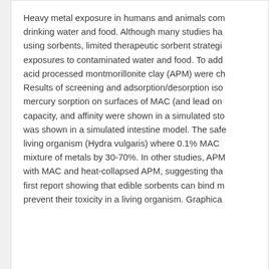Heavy metal exposure in humans and animals com drinking water and food. Although many studies ha using sorbents, limited therapeutic sorbent strategi exposures to contaminated water and food. To add acid processed montmorillonite clay (APM) were ch Results of screening and adsorption/desorption iso mercury sorption on surfaces of MAC (and lead on capacity, and affinity were shown in a simulated sto was shown in a simulated intestine model. The safe living organism (Hydra vulgaris) where 0.1% MAC mixture of metals by 30-70%. In other studies, APM with MAC and heat-collapsed APM, suggesting tha first report showing that edible sorbents can bind m prevent their toxicity in a living organism. Graphica
authors
Phillips, Timothy
Wade, Terry